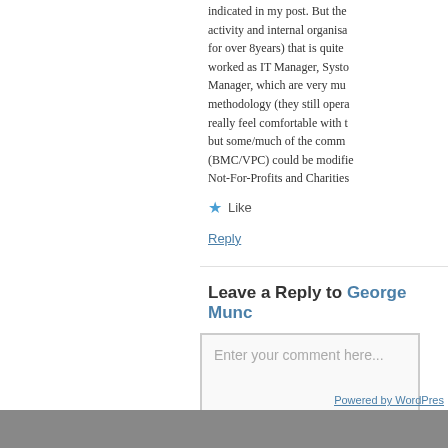indicated in my post. But the activity and internal organisation (for over 8years) that is quite worked as IT Manager, Systems Manager, which are very much methodology (they still operate really feel comfortable with the but some/much of the comments (BMC/VPC) could be modified Not-For-Profits and Charities
Like
Reply
Leave a Reply to George Munc
Enter your comment here...
Powered by WordPress